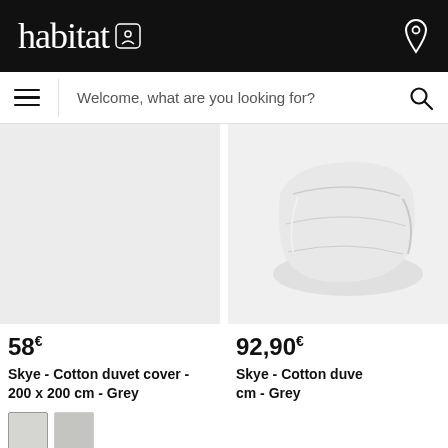habitat
Welcome, what are you looking for?
[Figure (photo): Product image placeholder — left column, light grey background, Skye Cotton duvet cover 200x200cm Grey]
58€
Skye - Cotton duvet cover - 200 x 200 cm - Grey
[Figure (photo): Product image right column — folded white/light grey duvet cover on grey background]
92,90€
Skye - Cotton duvet cover - cm - Grey